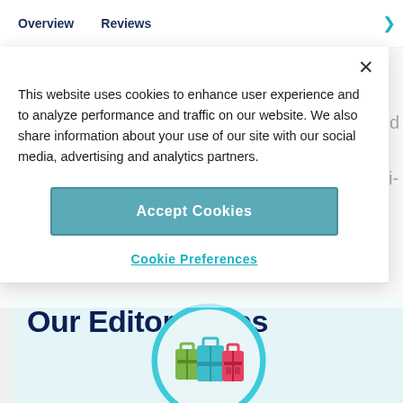Overview   Reviews
This website uses cookies to enhance user experience and to analyze performance and traffic on our website. We also share information about your use of our site with our social media, advertising and analytics partners.
Accept Cookies
Cookie Preferences
Our Editor Loves
[Figure (illustration): Circular teal magnifying-glass style icon containing colorful luggage/suitcase illustrations in green, teal, and pink/red colors]